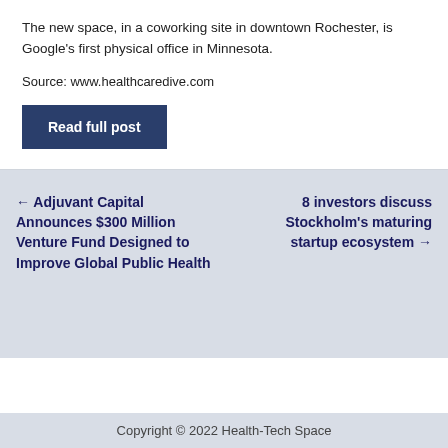The new space, in a coworking site in downtown Rochester, is Google's first physical office in Minnesota.
Source: www.healthcaredive.com
Read full post
← Adjuvant Capital Announces $300 Million Venture Fund Designed to Improve Global Public Health
8 investors discuss Stockholm's maturing startup ecosystem →
Copyright © 2022 Health-Tech Space